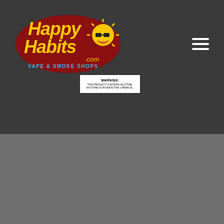[Figure (logo): Happy Habits Vape & Smoke Shops logo - red oval with yellow stylized text 'Happy Habits.com' and a sun character with sunglasses]
[Figure (illustration): Hamburger menu icon (three horizontal lines) in top right corner]
[Figure (infographic): Warning label: WARNING: THIS PRODUCT CONTAINS NICOTINE. NICOTINE IS AN ADDICTIVE CHEMICAL]
Copyright 2022 - Happy Habits | All Rights Reserved | Site designed by Adultdesignsdirect.com | Careers
[Figure (infographic): Social media icons row: Facebook, Twitter, Instagram, Pinterest, Mail/Email, and a scroll-to-top button]